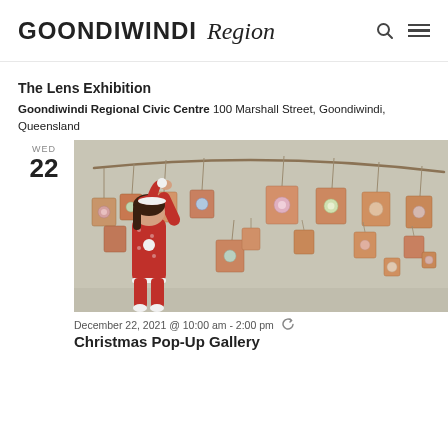GOONDIWINDI Region
The Lens Exhibition
Goondiwindi Regional Civic Centre 100 Marshall Street, Goondiwindi, Queensland
WED
22
[Figure (photo): A child dressed in red Christmas pyjamas and a Santa hat reaching up to touch ornaments hanging on a string advent calendar made of small kraft paper packages decorated with festive designs, against a light grey/beige wall.]
December 22, 2021 @ 10:00 am - 2:00 pm
Christmas Pop-Up Gallery